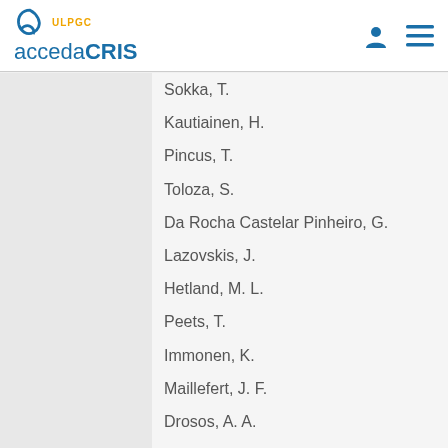accedaCRIS - ULPGC
Sokka, T.
Kautiainen, H.
Pincus, T.
Toloza, S.
Da Rocha Castelar Pinheiro, G.
Lazovskis, J.
Hetland, M. L.
Peets, T.
Immonen, K.
Maillefert, J. F.
Drosos, A. A.
Alten, R.
Pohl, C.
Rojkovich, B.
Bresnihan, B.
Minnock, P.
Cazzato, M.